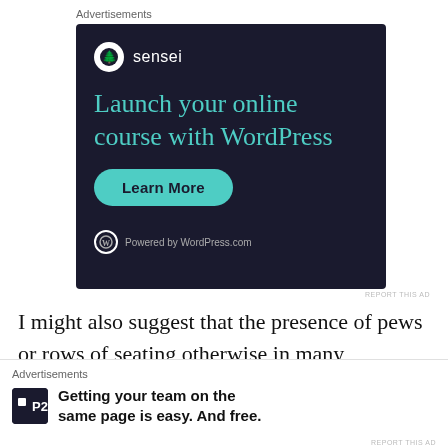Advertisements
[Figure (illustration): Sensei advertisement: dark navy background with Sensei logo (tree icon in white circle), headline 'Launch your online course with WordPress' in teal/green color, 'Learn More' button in teal, and 'Powered by WordPress.com' text with WordPress logo at bottom.]
REPORT THIS AD
I might also suggest that the presence of pews or rows of seating otherwise in many American churches,
Advertisements
[Figure (illustration): P2 advertisement: P2 logo in dark square on left, bold text 'Getting your team on the same page is easy. And free.' on right.]
REPORT THIS AD